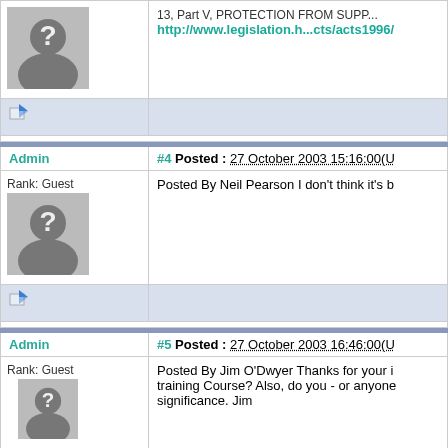[Figure (illustration): Forum post layout top: left column with guest avatar (silhouette with question mark), right column with truncated URL link http://www.legislation.h...cts/acts1996/]
http://www.legislation.h...cts/acts1996/
Toolbar row with blue arrow/reply icon
Admin  #4 Posted : 27 October 2003 15:16:00(U
Rank: Guest
Posted By Neil Pearson I don't think it's b
Toolbar row with blue arrow/reply icon
Admin  #5 Posted : 27 October 2003 16:46:00(U
Rank: Guest
Posted By Jim O'Dwyer Thanks for your i training Course? Also, do you - or anyone significance. Jim